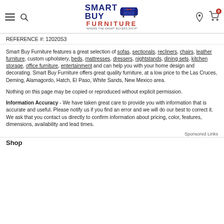Smart Buy Furniture — navigation header with logo, hamburger, search, location, and cart icons
REFERENCE #: 12020S3
Smart Buy Furniture features a great selection of sofas, sectionals, recliners, chairs, leather furniture, custom upholstery, beds, mattresses, dressers, nightstands, dining sets, kitchen storage, office furniture, entertainment and can help you with your home design and decorating. Smart Buy Furniture offers great quality furniture, at a low price to the Las Cruces, Deming, Alamagordo, Hatch, El Paso, White Sands, New Mexico area.
Nothing on this page may be copied or reproduced without explicit permission.
Information Accuracy - We have taken great care to provide you with information that is accurate and useful. Please notify us if you find an error and we will do our best to correct it. We ask that you contact us directly to confirm information about pricing, color, features, dimensions, availability and lead times.
Sponsored Links
Shop